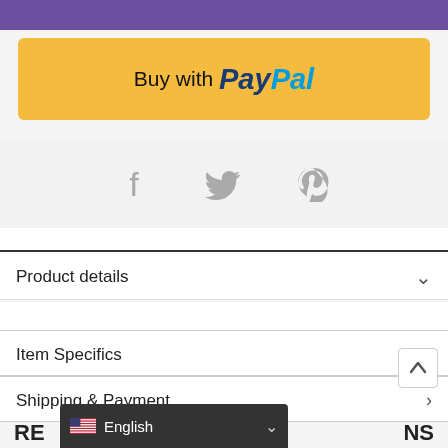[Figure (other): Purple banner bar at top]
[Figure (other): Buy with PayPal button (yellow background, bold PayPal logo text in dark blue and cyan)]
[Figure (other): Social media icons: Facebook (f), Twitter (bird), Pinterest (p) in gray]
Product details
Item Specifics
Shipping & Payment
[Figure (other): Back to top arrow button (up arrow icon in white box)]
[Figure (other): Language selector bar showing English with US flag and dropdown chevron]
RE...NS